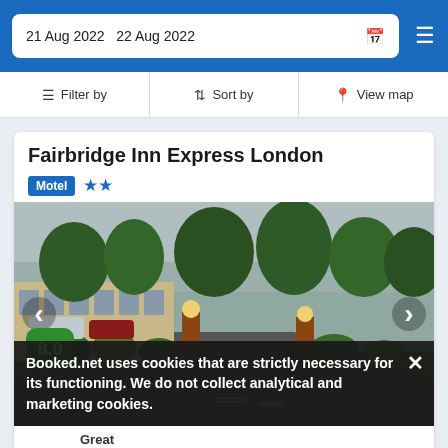21 Aug 2022  22 Aug 2022
Filter by  |  Sort by  |  View map
Fairbridge Inn Express London
Motel ★★
[Figure (photo): Exterior photo of Fairbridge Inn Express London motel showing driveway, landscaped grounds with shrubs, trees, and parked cars under an overcast sky. Navigation arrows on left and right sides. Green score badge showing 8.0 in bottom left.]
Great
4 reviews
22.7 mi from Jeffersonville
Booked.net uses cookies that are strictly necessary for its functioning. We do not collect analytical and marketing cookies.